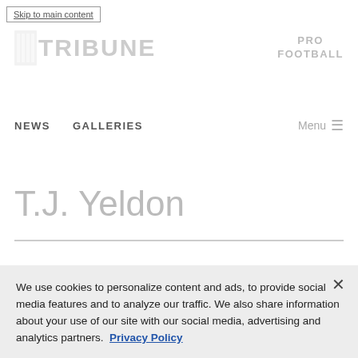Skip to main content
[Figure (logo): Tribune newspaper logo with stylized icon and 'TRIBUNE' text in bold gray letters]
PRO FOOTBALL
NEWS   GALLERIES   Menu
T.J. Yeldon
We use cookies to personalize content and ads, to provide social media features and to analyze our traffic. We also share information about your use of our site with our social media, advertising and analytics partners. Privacy Policy